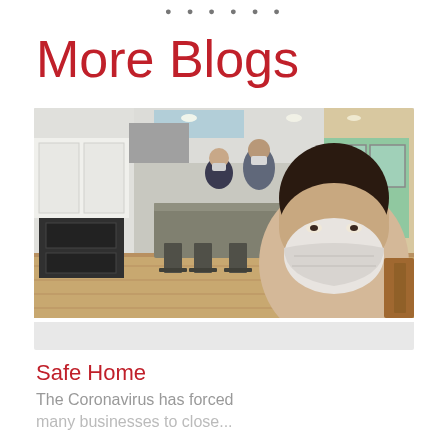social media icons / navigation
More Blogs
[Figure (photo): Interior photo of a modern kitchen. A woman in the foreground takes a selfie wearing a white N95 mask. In the background, two people wearing face masks stand near a kitchen island with bar stools. The kitchen has white cabinetry, stainless appliances, recessed lighting, and light wood floors.]
Safe Home
The Coronavirus has forced many businesses to close...